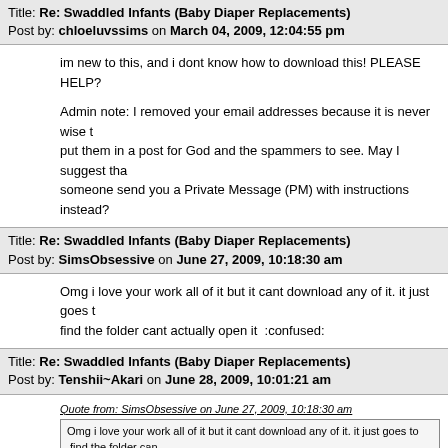Title: Re: Swaddled Infants (Baby Diaper Replacements)
Post by: chloeluvssims on March 04, 2009, 12:04:55 pm
im new to this, and i dont know how to download this! PLEASE HELP?
Admin note: I removed your email addresses because it is never wise to put them in a post for God and the spammers to see. May I suggest that someone send you a Private Message (PM) with instructions instead?
Title: Re: Swaddled Infants (Baby Diaper Replacements)
Post by: SimsObsessive on June 27, 2009, 10:18:30 am
Omg i love your work all of it but it cant download any of it. it just goes to find the folder cant actually open it  :confused:
Title: Re: Swaddled Infants (Baby Diaper Replacements)
Post by: Tenshii~Akari on June 28, 2009, 10:01:21 am
Quote from: SimsObsessive on June 27, 2009, 10:18:30 am
Omg i love your work all of it but it cant download any of it. it just goes to  find the folder cant actually open it  :confused:
Thanks!  ;D
Do you have some sort of download accelerator enabled on your browser?  If so, try disabling that.  If not, make sure you have a program that can actually extract .rar files (i.e. WinRar (http://www.rarlabs.com) 7-zip (http://www.7zip.com) are two good programs.  I highly suggest th...